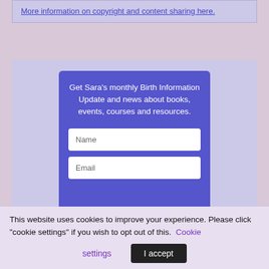More information on copyright and content sharing here.
Get Sara's monthly Birth Information Update and news about books, events, courses and resources.
[Figure (screenshot): Web form with Name and Email input fields inside a blue card on a light purple background]
This website uses cookies to improve your experience. Please click "cookie settings" if you wish to opt out of this. Cookie settings  I accept